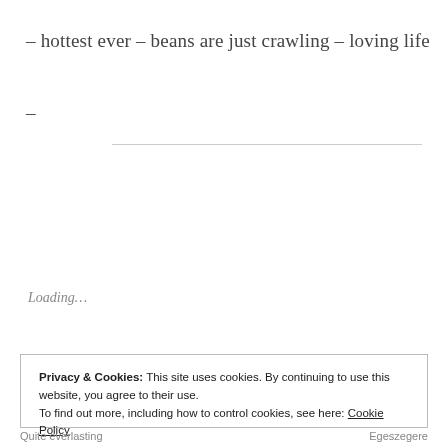– hottest ever – beans are just crawling – loving life –
Loading...
Privacy & Cookies: This site uses cookies. By continuing to use this website, you agree to their use.
To find out more, including how to control cookies, see here: Cookie Policy
Close and accept
Quite everlasting    Egeszegere